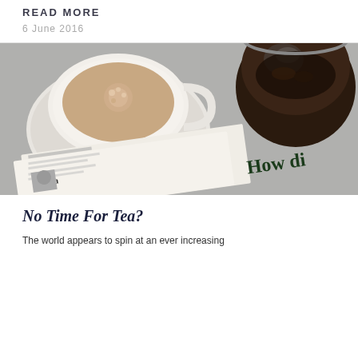READ MORE
6 June 2016
[Figure (photo): Overhead view of a white teacup with milky tea on a saucer, a dark glass teapot with loose tea leaves, and folded newspapers on a grey stone surface. A newspaper headline reads 'How di'.]
No Time For Tea?
The world appears to spin at an ever increasing